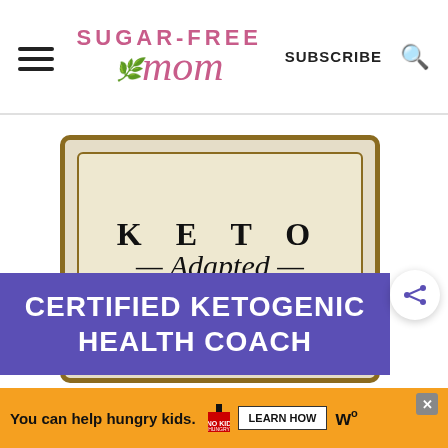SUGAR-FREE MOM — SUBSCRIBE
[Figure (photo): Book cover for 'KETO Adapted' by Maria Mind Body Health, overlaid with a purple banner reading 'CERTIFIED KETOGENIC HEALTH COACH']
MARIA MIND BODY HEALTH
You can help hungry kids. NO KID HUNGRY LEARN HOW